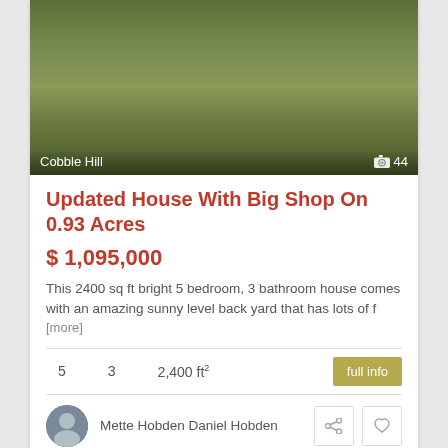[Figure (photo): Outdoor grassy area at Cobble Hill, camera count badge showing 44]
Updated House With Big Shop On 0.93 Acres
$ 1,095,000
This 2400 sq ft bright 5 bedroom, 3 bathroom house comes with an amazing sunny level back yard that has lots of f [more]
5   3   2,400 ft²   full info
Mette Hobden Daniel Hobden
[Figure (photo): Cabin/house with SOLD banner overlay, trees in background, action icons at bottom right]